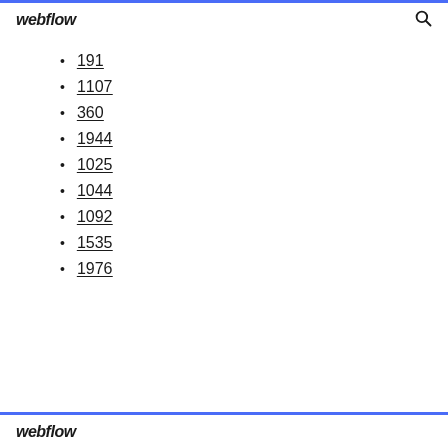webflow
191
1107
360
1944
1025
1044
1092
1535
1976
webflow